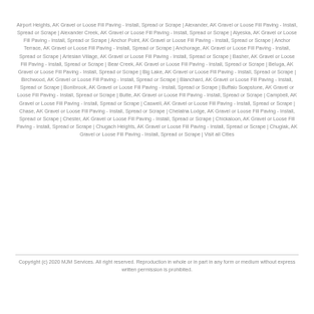Airport Heights, AK Gravel or Loose Fill Paving - Install, Spread or Scrape | Alexander, AK Gravel or Loose Fill Paving - Install, Spread or Scrape | Alexander Creek, AK Gravel or Loose Fill Paving - Install, Spread or Scrape | Alyeska, AK Gravel or Loose Fill Paving - Install, Spread or Scrape | Anchor Point, AK Gravel or Loose Fill Paving - Install, Spread or Scrape | Anchor Terrace, AK Gravel or Loose Fill Paving - Install, Spread or Scrape | Anchorage, AK Gravel or Loose Fill Paving - Install, Spread or Scrape | Artesian Village, AK Gravel or Loose Fill Paving - Install, Spread or Scrape | Basher, AK Gravel or Loose Fill Paving - Install, Spread or Scrape | Bear Creek, AK Gravel or Loose Fill Paving - Install, Spread or Scrape | Beluga, AK Gravel or Loose Fill Paving - Install, Spread or Scrape | Big Lake, AK Gravel or Loose Fill Paving - Install, Spread or Scrape | Birchwood, AK Gravel or Loose Fill Paving - Install, Spread or Scrape | Blanchard, AK Gravel or Loose Fill Paving - Install, Spread or Scrape | Bonibrook, AK Gravel or Loose Fill Paving - Install, Spread or Scrape | Buffalo Soapstone, AK Gravel or Loose Fill Paving - Install, Spread or Scrape | Butte, AK Gravel or Loose Fill Paving - Install, Spread or Scrape | Campbell, AK Gravel or Loose Fill Paving - Install, Spread or Scrape | Caswell, AK Gravel or Loose Fill Paving - Install, Spread or Scrape | Chase, AK Gravel or Loose Fill Paving - Install, Spread or Scrape | Chelatna Lodge, AK Gravel or Loose Fill Paving - Install, Spread or Scrape | Chester, AK Gravel or Loose Fill Paving - Install, Spread or Scrape | Chickaloon, AK Gravel or Loose Fill Paving - Install, Spread or Scrape | Chugach Heights, AK Gravel or Loose Fill Paving - Install, Spread or Scrape | Chugiak, AK Gravel or Loose Fill Paving - Install, Spread or Scrape | Visit all Cities
Copyright (c) 2020 MJM Services. All right reserved. Reproduction in whole or in part in any form or medium without express written permission is prohibited.